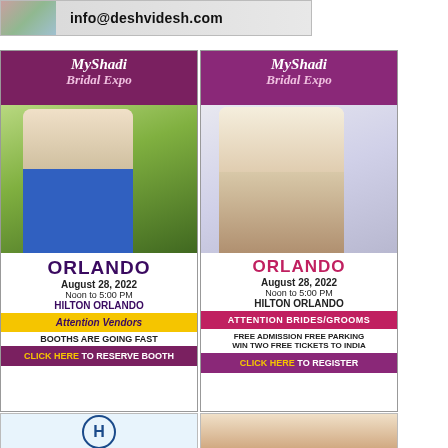[Figure (photo): Top banner advertisement for deshvidesh.com showing people and email address info@deshvidesh.com]
[Figure (illustration): MyShadi Bridal Expo advertisement for Orlando, August 28 2022, Noon to 5:00 PM, Hilton Orlando. Attention Vendors - Booths are going fast. Click here to reserve booth.]
[Figure (illustration): MyShadi Bridal Expo advertisement for Orlando, August 28 2022, Noon to 5:00 PM, Hilton Orlando. Attention Brides/Grooms - Free Admission Free Parking, Win Two Free Tickets to India. Click here to register.]
[Figure (logo): Partial view of Hilton hotel logo at bottom left]
[Figure (photo): Partial view of bridal photo at bottom right]